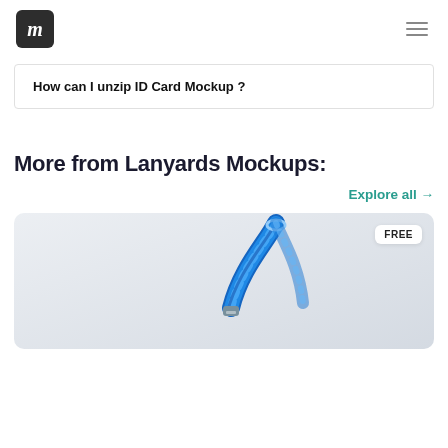im (logo) | hamburger menu
How can I unzip ID Card Mockup ?
More from Lanyards Mockups:
Explore all →
[Figure (photo): A blue lanyard mockup photo on a light gray gradient background with a FREE badge in the top right corner.]